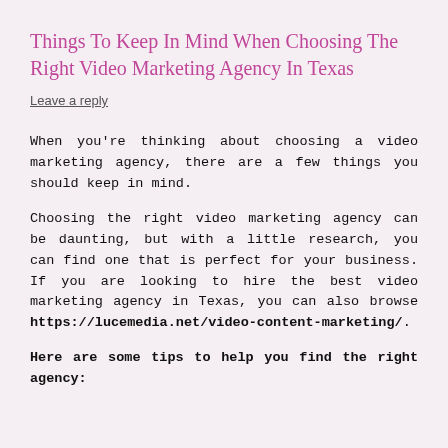Things To Keep In Mind When Choosing The Right Video Marketing Agency In Texas
Leave a reply
When you're thinking about choosing a video marketing agency, there are a few things you should keep in mind.
Choosing the right video marketing agency can be daunting, but with a little research, you can find one that is perfect for your business. If you are looking to hire the best video marketing agency in Texas, you can also browse https://lucemedia.net/video-content-marketing/.
Here are some tips to help you find the right agency: